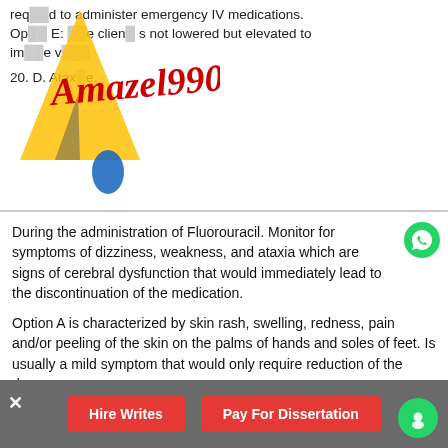req ed to administer emergency IV medications. Op E: the clien s not lowered but elevated to im e v
20. D. Atax e.
[Figure (logo): Amazel990 watermark logo with yellow arrow shape and red script text]
During the administration of Fluorouracil. Monitor for symptoms of dizziness, weakness, and ataxia which are signs of cerebral dysfunction that would immediately lead to the discontinuation of the medication.
Option A is characterized by skin rash, swelling, redness, pain and/or peeling of the skin on the palms of hands and soles of feet. Is usually a mild symptom that would only require reduction of the dosage.
Option C: Diarrhea is a related sign, not constipation.
Option D: is not a related symptom of this medication.